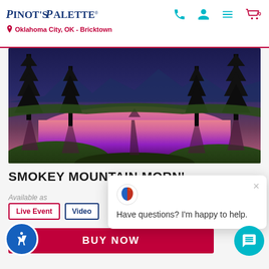PINOT'S PALETTE - Oklahoma City, OK - Bricktown
[Figure (illustration): Painting of Smokey Mountain Morning scene: dark pine trees silhouetted against a sunset sky reflected in a lake, with pink, orange and purple hues]
SMOKEY MOUNTAIN MORN'
Available as
Live Event  Video
[Figure (screenshot): Chat popup overlay with Pinot's Palette logo, close button X, and message: Have questions? I'm happy to help.]
BUY NOW